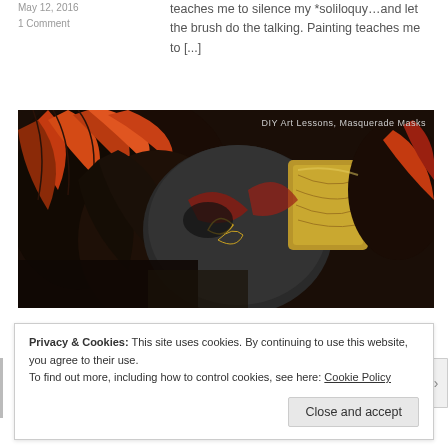May 12, 2016
1 Comment
teaches me to silence my *soliloquy...and let the brush do the talking. Painting teaches me to [...]
[Figure (photo): Close-up photo of a decorative masquerade mask with red, gold, and black coloring and orange/red feathers. Overlaid text reads: DIY Art Lessons, Masquerade Masks]
HOW TO MAKE A MASQUERADE MASK PART 1
February 12, 2016
5 Comments
If you want to a fun project, try making your own masquerade mask. Here's a short video that takes you through the progression of the Warrior Princess Mask from sculpting, [...]
Privacy & Cookies: This site uses cookies. By continuing to use this website, you agree to their use.
To find out more, including how to control cookies, see here: Cookie Policy
Close and accept